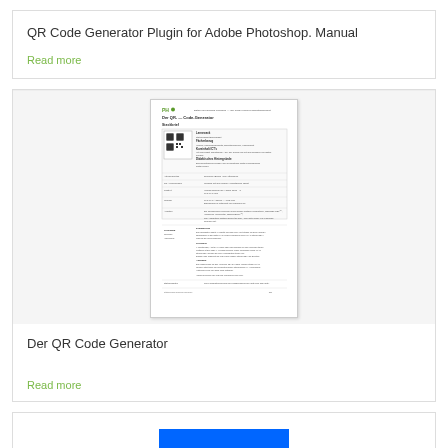QR Code Generator Plugin for Adobe Photoshop. Manual
Read more
[Figure (screenshot): Thumbnail of a document page showing 'Der QR-Code-Generator' with a QR code image, table of contents/details, and text body in German.]
Der QR Code Generator
Read more